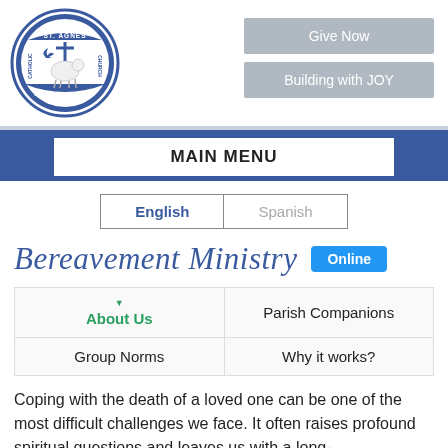[Figure (logo): St. Agnes Catholic Church Key Biscayne FL 70th Anniversary circular seal/logo with lamb and cross]
[Figure (screenshot): Give Now button (gray)]
[Figure (screenshot): Building with JOY button (gray)]
MAIN MENU
English | Spanish
Bereavement Ministry Online
| About Us | Parish Companions |
| Group Norms | Why it works? |
Coping with the death of a loved one can be one of the most difficult challenges we face. It often raises profound spiritual questions and leaves us with a long-